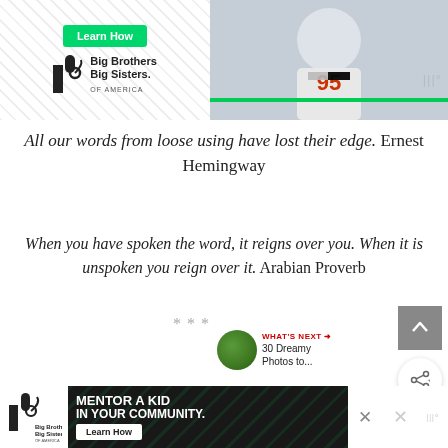[Figure (photo): Advertisement banner for Big Brothers Big Sisters of America with a 'Learn How' green button on left side and a photo of a child in a racing shirt on the right side]
All our words from loose using have lost their edge. Ernest Hemingway
When you have spoken the word, it reigns over you. When it is unspoken you reign over it. Arabian Proverb
* * *
[Figure (infographic): WHAT'S NEXT arrow label with thumbnail image and text '30 Dreamy Photos to...']
Consider that all the bright thinkers and leaders I just quoted we...
[Figure (infographic): Bottom advertisement bar: Big Brothers Big Sisters - MENTOR A KID IN YOUR COMMUNITY with Learn How button]